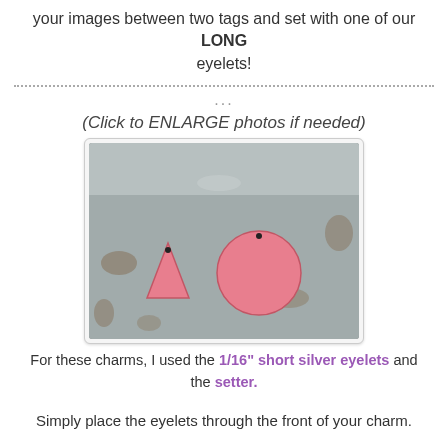your images between two tags and set with one of our LONG eyelets!
...
(Click to ENLARGE photos if needed)
[Figure (photo): Two pink leather charms on a metal surface: a triangle shape on the left and a circular shape on the right, both with small holes punched near the top.]
For these charms, I used the 1/16" short silver eyelets and the setter.
Simply place the eyelets through the front of your charm.